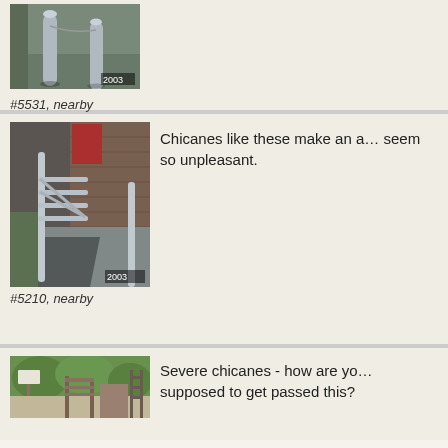[Figure (photo): Photo of metal bollards on a pathway, year label 2003]
#5531, nearby
[Figure (photo): Photo of metal chicane barrier on footpath, year label 2003]
#5210, nearby
Chicanes like these make an area seem so unpleasant.
[Figure (photo): Photo of severe chicane gate at park entrance]
Severe chicanes - how are you supposed to get passed this?